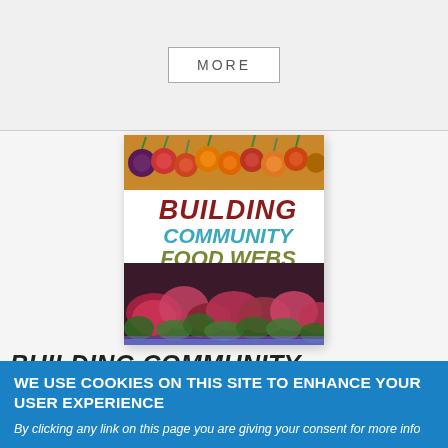MORE
[Figure (illustration): Book cover for 'Building Community Food Webs' showing vegetables at top and garden plants at bottom with title text in red, blue, and green.]
BUILDING COMMUNITY
WE USE COOKIES ON THIS SITE TO ENHANCE YOUR USER EXPERIENCE
By clicking any link on this page you are giving your consent for more info